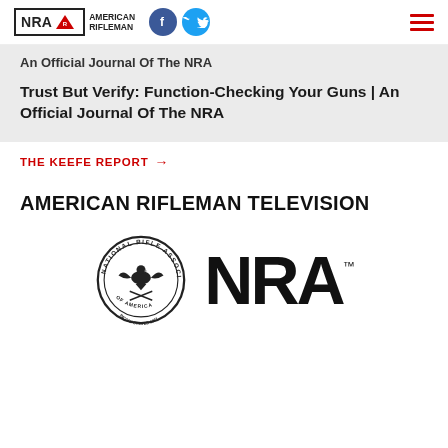NRA American Rifleman — social icons (Facebook, Twitter) — hamburger menu
An Official Journal Of The NRA
Trust But Verify: Function-Checking Your Guns | An Official Journal Of The NRA
THE KEEFE REPORT →
AMERICAN RIFLEMAN TELEVISION
[Figure (logo): NRA National Rifle Association of America circular seal logo alongside large bold NRA text with TM mark]